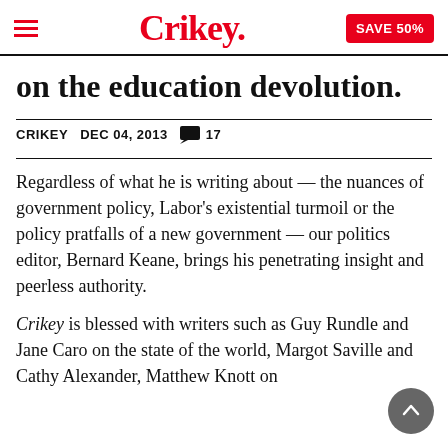Crikey. SAVE 50%
on the education devolution.
CRIKEY   DEC 04, 2013   💬 17
Regardless of what he is writing about — the nuances of government policy, Labor's existential turmoil or the policy pratfalls of a new government — our politics editor, Bernard Keane, brings his penetrating insight and peerless authority.
Crikey is blessed with writers such as Guy Rundle and Jane Caro on the state of the world, Margot Saville and Cathy Alexander, Matthew Knott on